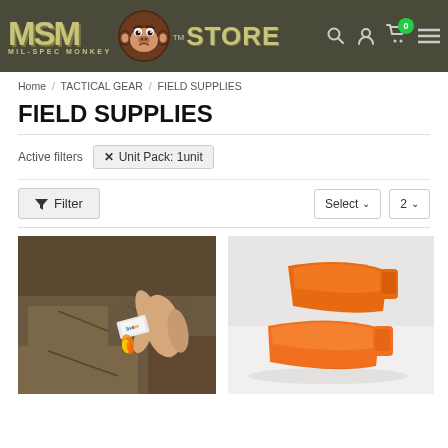[Figure (logo): MSM Mil-Spec Monkey Store logo with monkey mascot on dark olive/grey header background]
Home / TACTICAL GEAR / FIELD SUPPLIES
FIELD SUPPLIES
Active filters   ✕ Unit Pack: 1unit
▼ Filter    Select ▾    2 ▾
[Figure (photo): Hand holding a Live Fire fire starter against a rocky surface with flame visible]
[Figure (photo): Two orange whistle-shaped objects on a white/light grey background]